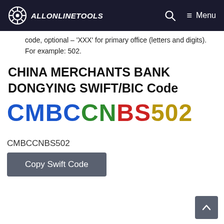ALLONLINETOOLS — Menu
code, optional – 'XXX' for primary office (letters and digits). For example: 502.
CHINA MERCHANTS BANK DONGYING SWIFT/BIC Code
[Figure (other): SWIFT/BIC code displayed in large colored text: CMBCCNBS502 where CMBC is blue, CN is green, BS is red, 502 is gold/yellow]
CMBCCNBS502
Copy Swift Code